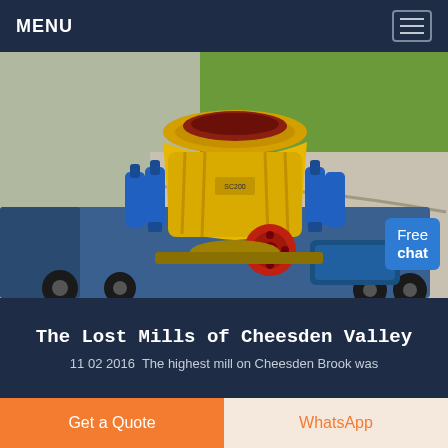MENU
[Figure (photo): Aerial view of a large yellow cone crusher mounted on a flatbed truck, with blue hydraulic cylinders and a red flywheel, parked on a road next to green grass]
The Lost Mills of Cheesden Valley
11 02 2016  The highest mill on Cheesden Brook was
Get a Quote
WhatsApp